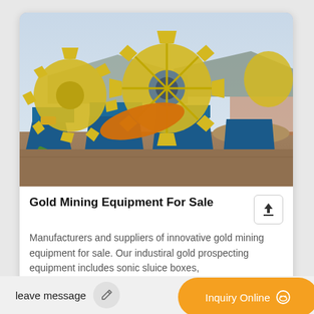[Figure (photo): Industrial gold mining equipment showing large yellow toothed wheel/sprocket mechanisms mounted on blue steel frames, with an orange conveyor component, green hose on ground, and industrial structures in the background under a hazy sky.]
Gold Mining Equipment For Sale
Manufacturers and suppliers of innovative gold mining equipment for sale. Our industiral gold prospecting equipment includes sonic sluice boxes, mi... (text continues)
leave message
Inquiry Online